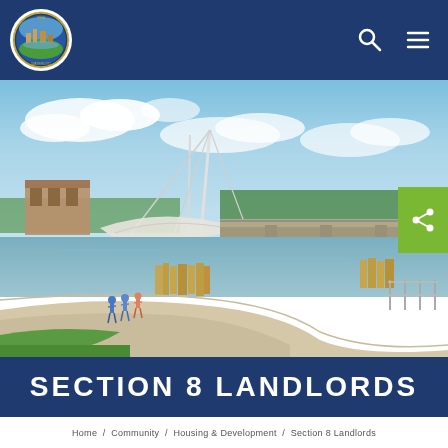[Figure (logo): Waterloo Iowa city seal/logo — circular emblem with colorful imagery]
[Figure (photo): Outdoor riverfront park scene in Waterloo, Iowa. A curved pedestrian pathway runs along a river, with people walking and running. A tensile canopy structure and bridge are visible in the background under a partly cloudy blue sky. Green grass and ornamental grasses line the path.]
SECTION 8 LANDLORDS
Home   /   Community   /   Housing & Development   /   Section 8 Landlords